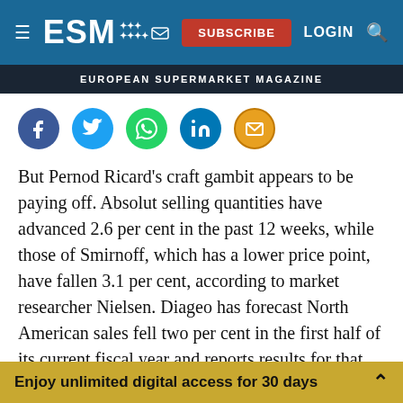ESM | SUBSCRIBE | LOGIN
EUROPEAN SUPERMARKET MAGAZINE
[Figure (infographic): Social share icons row: Facebook (dark blue), Twitter (light blue), WhatsApp (green), LinkedIn (dark blue), Email (orange/gold)]
But Pernod Ricard's craft gambit appears to be paying off. Absolut selling quantities have advanced 2.6 per cent in the past 12 weeks, while those of Smirnoff, which has a lower price point, have fallen 3.1 per cent, according to market researcher Nielsen. Diageo has forecast North American sales fell two per cent in the first half of its current fiscal year and reports results for that period on Thursday.
Enjoy unlimited digital access for 30 days